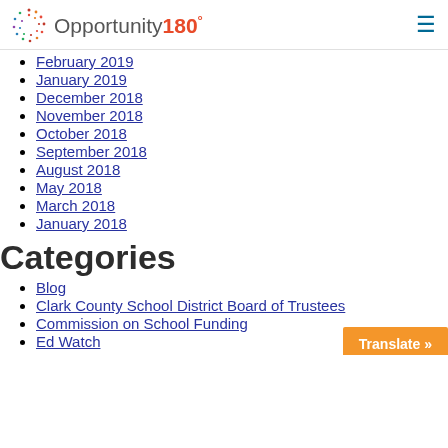Opportunity180°
February 2019
January 2019
December 2018
November 2018
October 2018
September 2018
August 2018
May 2018
March 2018
January 2018
Categories
Blog
Clark County School District Board of Trustees
Commission on School Funding
Ed Watch